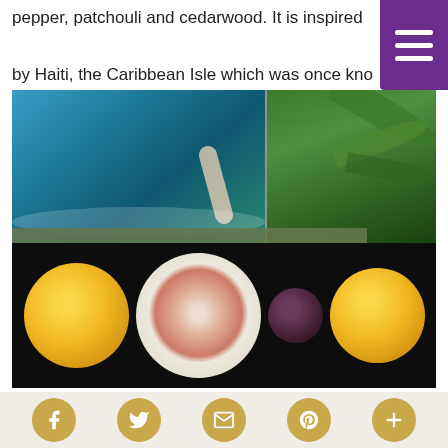pepper, patchouli and cedarwood. It is inspired by Haiti, the Caribbean Isle which was once known as the "Jewel of the Antilles".
[Figure (photo): Composite photo showing a person splashing in a pool (top left), tropical palm fronds (top right), and sliced citrus fruits including grapefruit, oranges, and a dark berry on a dark background (bottom). An olive-green overlay card shows product information.]
BIJOU VERT   Scent Profile: Fresh
Fragrance Notes
Top: Grapefruit, Mandarin
Middle: Geranium, Lotus Flower, Black Pepper
Base: Benzoin, Patchouli, Haitian Vetiver, Cedarwood
Social media icons: Facebook, Twitter, Email, Pinterest, Plus